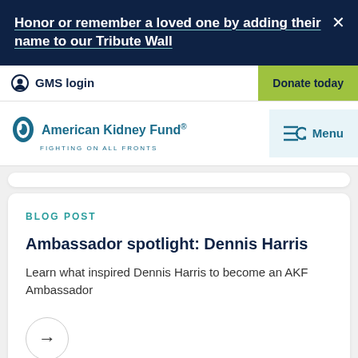Honor or remember a loved one by adding their name to our Tribute Wall
GMS login | Donate today
[Figure (logo): American Kidney Fund logo with tagline FIGHTING ON ALL FRONTS and Menu button]
BLOG POST
Ambassador spotlight: Dennis Harris
Learn what inspired Dennis Harris to become an AKF Ambassador